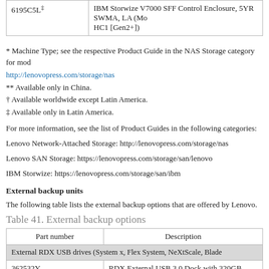| Part number | Description |
| --- | --- |
| 6195C5L‡ | IBM Storwize V7000 SFF Control Enclosure, 5YR SWMA, LA (Mo... HC1 [Gen2+]) |
* Machine Type; see the respective Product Guide in the NAS Storage category for mod...
http://lenovopress.com/storage/nas
** Available only in China.
† Available worldwide except Latin America.
‡ Available only in Latin America.
For more information, see the list of Product Guides in the following categories:
Lenovo Network-Attached Storage: http://lenovopress.com/storage/nas
Lenovo SAN Storage: https://lenovopress.com/storage/san/lenovo
IBM Storwize: https://lenovopress.com/storage/san/ibm
External backup units
The following table lists the external backup options that are offered by Lenovo.
Table 41. External backup options
| Part number | Description |
| --- | --- |
| External RDX USB drives (System x, Flex System, NeXtScale, Blade... |  |
| 362532Y | RDX External USB 3.0 Dock with 320GB Cartridge |